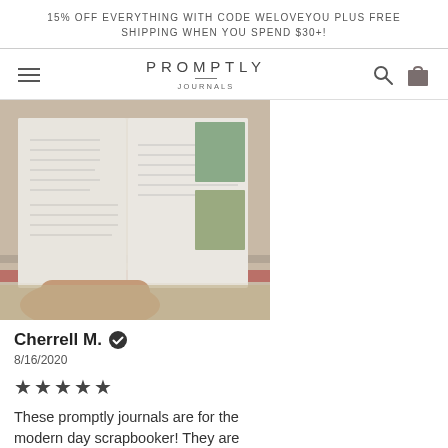15% OFF EVERYTHING WITH CODE WELOVEYOU PLUS FREE SHIPPING WHEN YOU SPEND $30+!
[Figure (logo): Promptly Journals navigation bar with hamburger menu, centered brand name PROMPTLY JOURNALS, search icon, and shopping bag icon]
[Figure (photo): Hand holding open a journal with handwritten entries on a patterned rug, with two smaller inset photos on the right side]
Cherrell M. [verified badge]
8/16/2020
★★★★★
These promptly journals are for the modern day scrapbooker! They are your